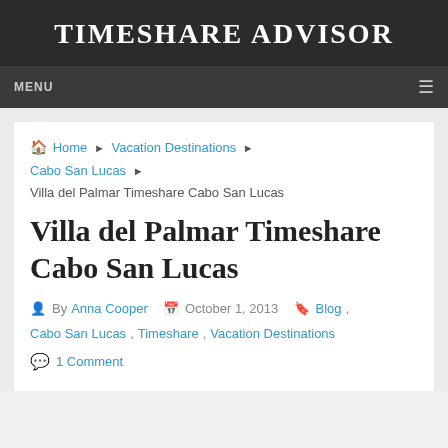TIMESHARE ADVISOR
MENU
Home ▶ Vacation Destinations ▶ Cabo San Lucas ▶ Villa del Palmar Timeshare Cabo San Lucas
Villa del Palmar Timeshare Cabo San Lucas
By Anna Cooper   October 1, 2013   Blog, Cabo San Lucas, Timeshare, Vacation Destinations   1 Comment